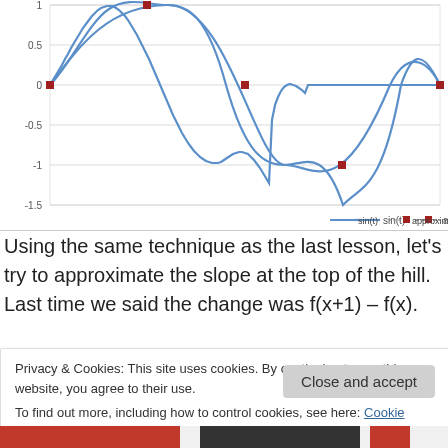[Figure (continuous-plot): A sine wave chart showing sin(t) as a continuous blue curve and 5 approximation points as red squares at key positions (0,0), (pi/2,1), (pi,0), (3pi/2,-1), (2pi,0). Y-axis ranges from -1.5 to 1 with gridlines at -1.5, -1, -0.5, 0, 0.5, 1. Legend shows 'sin(t)' and 'approximation'.]
Using the same technique as the last lesson, let's try to approximate the slope at the top of the hill.  Last time we said the change was f(x+1) – f(x).
Privacy & Cookies: This site uses cookies. By continuing to use this website, you agree to their use.
To find out more, including how to control cookies, see here: Cookie Policy